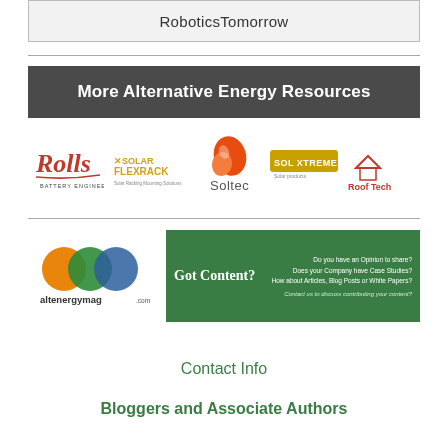RoboticsTomorrow
More Alternative Energy Resources
[Figure (logo): Row of five company logos: Rolls Battery Engineering, Solar FlexRack, Soltec, Sol Xtreme, Roof Tech]
[Figure (logo): altenergymag.com logo with orange, green, and blue circles]
[Figure (infographic): Green banner: Got Content? Do you have an Opinion to share? Does your Company have Case Studies? How about Articles, Blog Posts or White Papers? Contact us to discuss contributing your content?]
Contact Info
Bloggers and Associate Authors